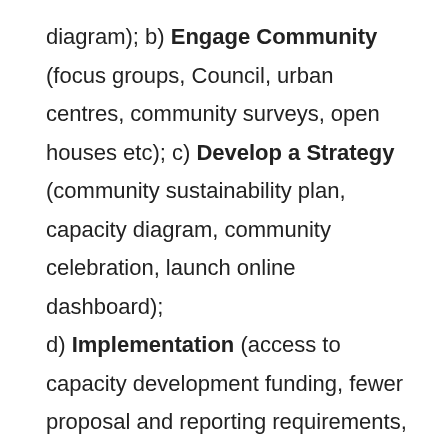diagram); b) Engage Community (focus groups, Council, urban centres, community surveys, open houses etc); c) Develop a Strategy (community sustainability plan, capacity diagram, community celebration, launch online dashboard); d) Implementation (access to capacity development funding, fewer proposal and reporting requirements, share progress with community, decision making based on empirical data, self-assessment updated guide).
“We’re already in the process of hiring a Community Development Officer, we’ve signed the